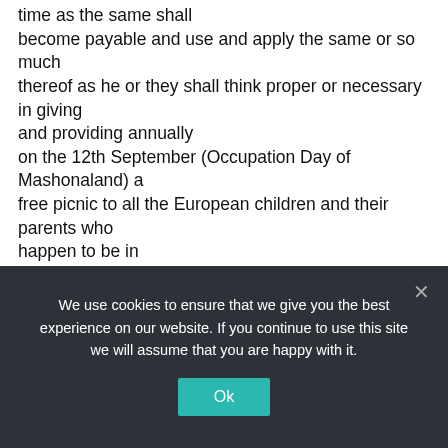time as the same shall become payable and use and apply the same or so much thereof as he or they shall think proper or necessary in giving and providing annually on the 12th September (Occupation Day of Mashonaland) a free picnic to all the European children and their parents who happen to be in Salisbury on the said 12th September. I do hereby constitute nominate and appoint Ernest Edward Homan and Frederick Charles Blakeway, to be the joint Executors of this my will and testament and Administrators of my estate and effects in Southern Rhodesia, and on the death of one of them, then the survivor to
We use cookies to ensure that we give you the best experience on our website. If you continue to use this site we will assume that you are happy with it.